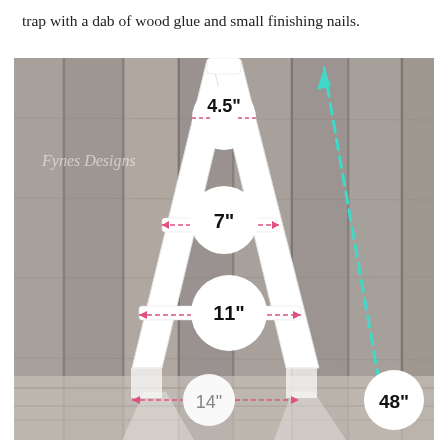trap with a dab of wood glue and small finishing nails.
[Figure (engineering-diagram): An A-frame ladder/easel shape (white painted wood) photographed against a grey wood plank wall background. Dimension annotations label: 4.5 inches at the top, 7 inches at a middle crossbar, 11 inches at a lower crossbar, 14 inches at the base width, and 48 inches for the total height along the side (shown with a teal/cyan dashed arrow). White circles contain the dimension text. Pink dashed lines show the horizontal measurements. Watermark reads 'Fynes Designs' in script.]